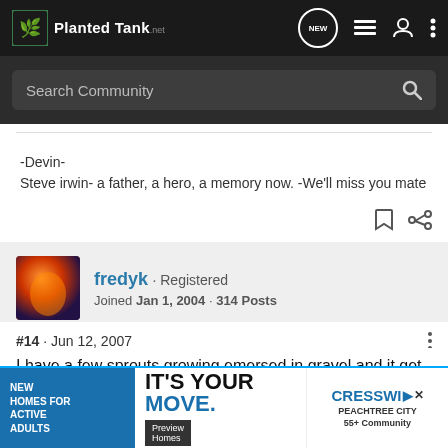PlantedTank.net - Search Community navigation bar
-Devin-
Steve irwin- a father, a hero, a memory now. -We'll miss you mate
fredyk · Registered
Joined Jan 1, 2004 · 314 Posts
#14 · Jun 12, 2007
I have a few sprouts growing emersed in gravel and it get dried out so it's covered with plastic wrap. Looks nice but growing very slo
[Figure (screenshot): Advertisement banner: NEW HOMES FOR ACTIVE ADULTS | IT'S YOUR MOVE. | Preview Homes | CRESSWI PEACHTREE CITY 55+ Community]